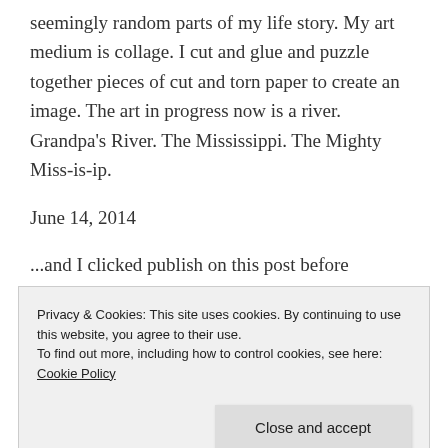seemingly random parts of my life story. My art medium is collage. I cut and glue and puzzle together pieces of cut and torn paper to create an image. The art in progress now is a river. Grandpa's River. The Mississippi. The Mighty Miss-is-ip.
June 14, 2014
...and I clicked publish on this post before unpausing the movie and watching a little more to
Privacy & Cookies: This site uses cookies. By continuing to use this website, you agree to their use.
To find out more, including how to control cookies, see here: Cookie Policy
normal  passage  path  pieces  prayer  river  scripture  secret